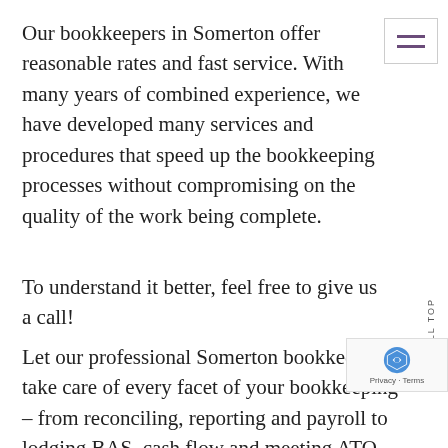Our bookkeepers in Somerton offer reasonable rates and fast service. With many years of combined experience, we have developed many services and procedures that speed up the bookkeeping processes without compromising on the quality of the work being complete.
To understand it better, feel free to give us a call!
Let our professional Somerton bookkeepers take care of every facet of your bookkeeping – from reconciling, reporting and payroll to lodging BAS, cash flow and meeting ATO compliance obligations. We don't provide a one-size-fits-all solution. Instead, you receive custom bookkeeping services that meet the unique needs and challenges of your business. If you need help with other services, like setting up accounting apps that make your business run smoother, then we are happy to assist you.